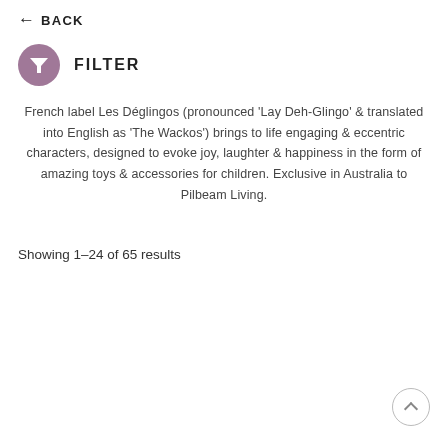← BACK
FILTER
French label Les Déglingos (pronounced 'Lay Deh-Glingo' & translated into English as 'The Wackos') brings to life engaging & eccentric characters, designed to evoke joy, laughter & happiness in the form of amazing toys & accessories for children. Exclusive in Australia to Pilbeam Living.
Showing 1–24 of 65 results